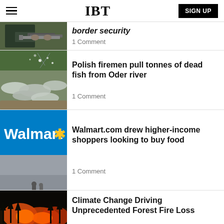IBT
border security
1 Comment
Polish firemen pull tonnes of dead fish from Oder river
1 Comment
Walmart.com drew higher-income shoppers looking to buy food
1 Comment
Climate Change Driving Unprecedented Forest Fire Loss